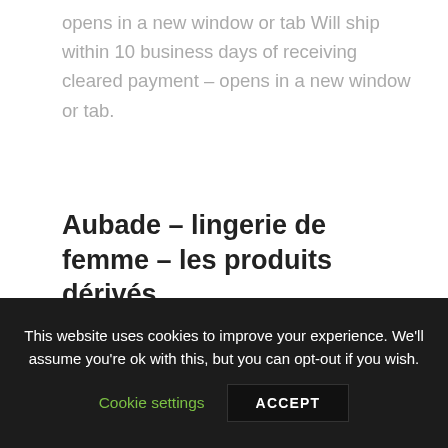opens in a new window or tab Will ship within 10 business days of receiving cleared payment – opens in a new window or tab.
Aubade – lingerie de femme – les produits dérivés
Pin-up Aslan Belle Couverture. The item you've selected was not added to your cart.
KONRAD PAUL LIESSMANN THEORIE DER
This website uses cookies to improve your experience. We'll assume you're ok with this, but you can opt-out if you wish. Cookie settings ACCEPT